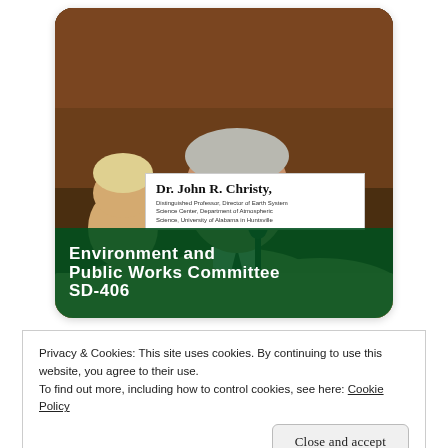[Figure (photo): Video screenshot showing Dr. John R. Christy testifying at a Senate Environment and Public Works Committee hearing in room SD-406. A man in a tan suit and dark tie is seated at a witness table. A nameplate reads 'Dr. John R. Christy, Distinguished Professor, Director of Earth System Science Center, Department of Atmospheric Science, University of Alabama in Huntsville.' A green lower bar shows 'Environment and Public Works Committee SD-406'.]
Privacy & Cookies: This site uses cookies. By continuing to use this website, you agree to their use.
To find out more, including how to control cookies, see here: Cookie Policy